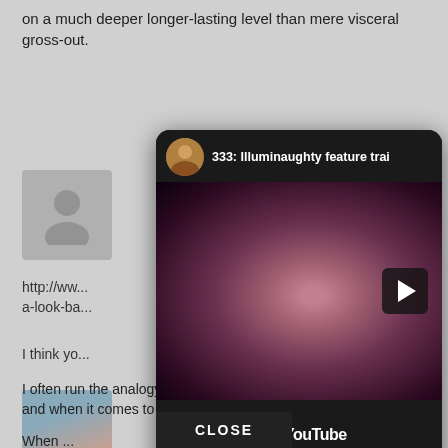on a much deeper longer-lasting level than mere visceral gross-out.
[Figure (photo): Gray placeholder avatar silhouette icon]
http://ww... a-look-ba...
I think yo...
[Figure (photo): Child eating something pink, thumbnail/avatar image]
To under... understa... it.
[Figure (screenshot): YouTube video embed overlay showing '333: Illuminaughty feature trai' with a person's face visible and Watch on YouTube button at bottom]
I often run the analogy that [CLOSE] are like porn, and when it comes to porn, everyone has their own thing.
When ...